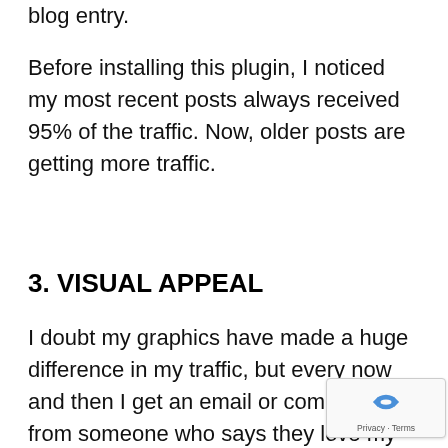blog entry.
Before installing this plugin, I noticed my most recent posts always received 95% of the traffic. Now, older posts are getting more traffic.
3. VISUAL APPEAL
I doubt my graphics have made a huge difference in my traffic, but every now and then I get an email or comment from someone who says they love my blog images and graphics.